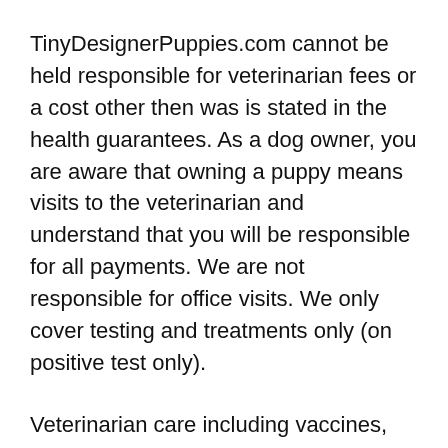TinyDesignerPuppies.com cannot be held responsible for veterinarian fees or a cost other then was is stated in the health guarantees. As a dog owner, you are aware that owning a puppy means visits to the veterinarian and understand that you will be responsible for all payments. We are not responsible for office visits. We only cover testing and treatments only (on positive test only).
Veterinarian care including vaccines, de-worming and heart worm treatment plus regular checkups are all part of owning a puppy and small problems should be treated